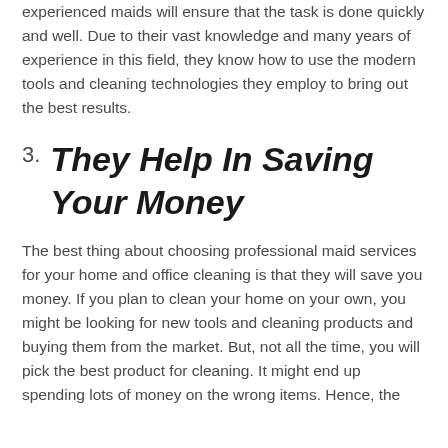experienced maids will ensure that the task is done quickly and well. Due to their vast knowledge and many years of experience in this field, they know how to use the modern tools and cleaning technologies they employ to bring out the best results.
3. They Help In Saving Your Money
The best thing about choosing professional maid services for your home and office cleaning is that they will save you money. If you plan to clean your home on your own, you might be looking for new tools and cleaning products and buying them from the market. But, not all the time, you will pick the best product for cleaning. It might end up spending lots of money on the wrong items. Hence, the